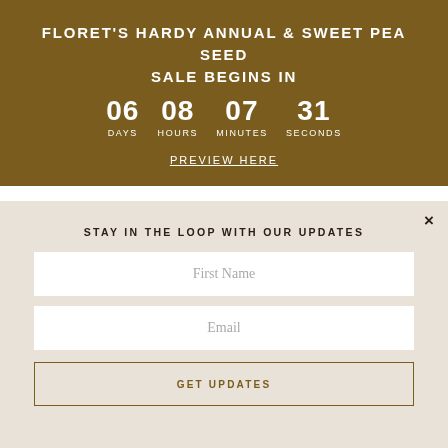FLORET'S HARDY ANNUAL & SWEET PEA SEED SALE BEGINS IN
06 DAYS  08 HOURS  07 MINUTES  31 SECONDS
PREVIEW HERE
[Figure (illustration): A handwritten signature in brown ink on white background]
×
STAY IN THE LOOP WITH OUR UPDATES
First Name
Email
GET UPDATES